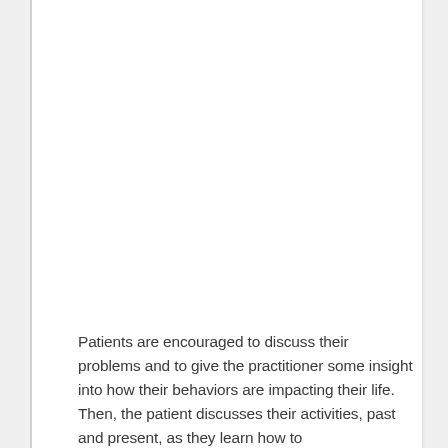[Figure (other): Filter/settings icon with three horizontal lines with adjustment sliders, displayed in a white rounded square button on the left side of the page]
Patients are encouraged to discuss their problems and to give the practitioner some insight into how their behaviors are impacting their life. Then, the patient discusses their activities, past and present, as they learn how to